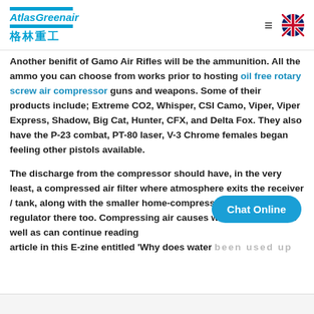AtlasGreenair 格林重工
Another benifit of Gamo Air Rifles will be the ammunition. All the ammo you can choose from works prior to hosting oil free rotary screw air compressor guns and weapons. Some of their products include; Extreme CO2, Whisper, CSI Camo, Viper, Viper Express, Shadow, Big Cat, Hunter, CFX, and Delta Fox. They also have the P-23 combat, PT-80 laser, V-3 Chrome females began feeling other pistols available.
The discharge from the compressor should have, in the very least, a compressed air filter where atmosphere exits the receiver / tank, along with the smaller home-compressors will face a regulator there too. Compressing air causes water problems, as well as can continue reading article in this E-zine entitled 'Why does water been used up